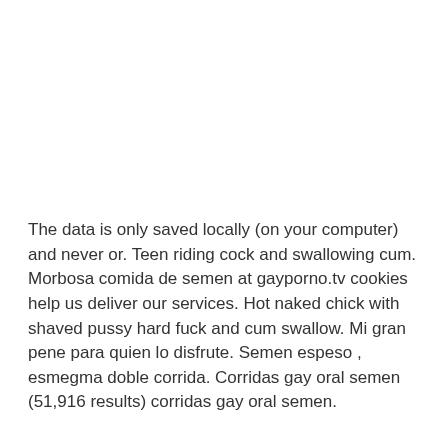The data is only saved locally (on your computer) and never or. Teen riding cock and swallowing cum. Morbosa comida de semen at gayporno.tv cookies help us deliver our services. Hot naked chick with shaved pussy hard fuck and cum swallow. Mi gran pene para quien lo disfrute. Semen espeso , esmegma doble corrida. Corridas gay oral semen (51,916 results) corridas gay oral semen.